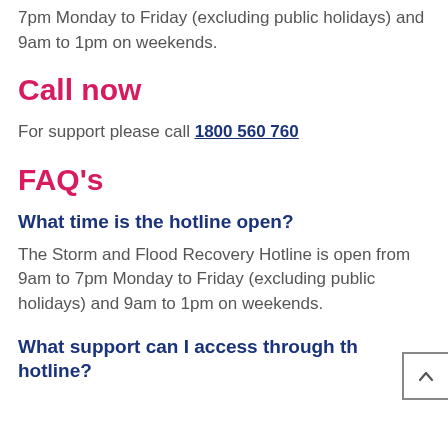7pm Monday to Friday (excluding public holidays) and 9am to 1pm on weekends.
Call now
For support please call 1800 560 760
FAQ's
What time is the hotline open?
The Storm and Flood Recovery Hotline is open from 9am to 7pm Monday to Friday (excluding public holidays) and 9am to 1pm on weekends.
What support can I access through the hotline?